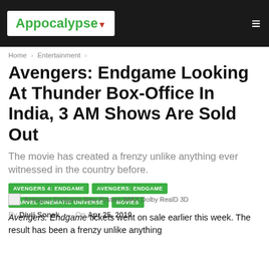Appocalypse
Home › Entertainment ›
Avengers: Endgame Looking At Thunder Box-Office In India, 3 AM Shows Are Sold Out
The movie has created a frenzy unlike anything ever witnessed in the country before.
AVENGERS 4: ENDGAME
AVENGERS: ENDGAME
MARVEL CINEMATIC UNIVERSE
MOVIES
By Divij Sonak — On Apr 25, 2019
Avengers Endgame New Posters IMAX Dolby RealD 3D
Avengers: Endgame tickets went on sale earlier this week. The result has been a frenzy unlike anything